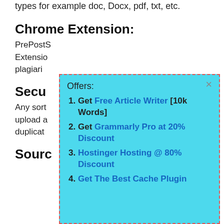types for example doc, Docx, pdf, txt, etc.
Chrome Extension:
PrePostS... Extensio... plagiari...
Secu...
Any sort... upload a... duplicat...
Sourc...
[Figure (infographic): Popup overlay with cyan background and dashed red border showing 'Offers:' list with 4 items: 1. Get Free Article Writer [10k Words], 2. Get Grammarly Pro at 20% Discount, 3. Hostinger Hosting @ 80% Discount, 4. Get The Best Cache Plugin]